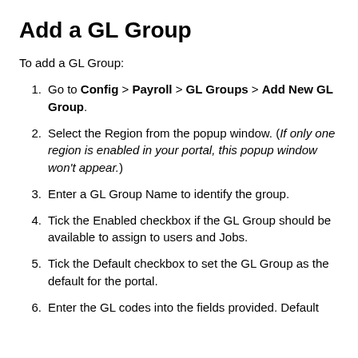Add a GL Group
To add a GL Group:
Go to Config > Payroll > GL Groups > Add New GL Group.
Select the Region from the popup window. (If only one region is enabled in your portal, this popup window won't appear.)
Enter a GL Group Name to identify the group.
Tick the Enabled checkbox if the GL Group should be available to assign to users and Jobs.
Tick the Default checkbox to set the GL Group as the default for the portal.
Enter the GL codes into the fields provided. Default